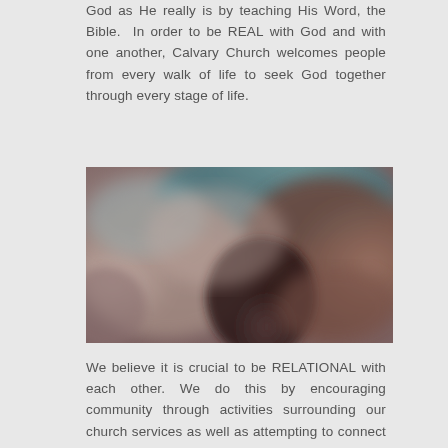God as He really is by teaching His Word, the Bible.  In order to be REAL with God and with one another, Calvary Church welcomes people from every walk of life to seek God together through every stage of life.
[Figure (photo): A blurred photograph showing people, likely a church community gathering. The image has warm tones with brown, mauve, and some teal/blue in the upper area.]
We believe it is crucial to be RELATIONAL with each other. We do this by encouraging community through activities surrounding our church services as well as attempting to connect everyone in the fellowship with a friend that they